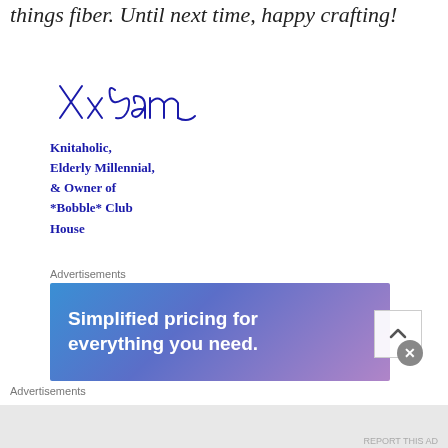things fiber. Until next time, happy crafting!
[Figure (illustration): Handwritten cursive signature reading 'Xx Sam']
Knitaholic,
Elderly Millennial,
& Owner of
*Bobble* Club
House
Advertisements
[Figure (screenshot): Advertisement banner with gradient blue-purple background reading 'Simplified pricing for everything you need.' with a close button and scroll button]
Advertisements